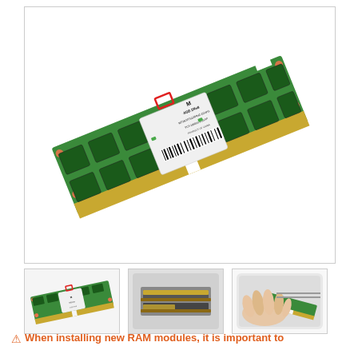[Figure (photo): Close-up photo of a Micron 4GB 2Rx8 SO-DIMM RAM module (MT16JTF51264HZ-1G4H1, PC3-10600S-9-10-FP) on a green PCB with gold contacts, angled view. A small red rectangle highlights a notch area on the top edge. White label with barcode visible on the module.]
[Figure (photo): Small thumbnail of the same RAM module showing front view at an angle with red highlight on connector notch area.]
[Figure (photo): Thumbnail showing edge-on view of a laptop RAM slot/compartment with two SO-DIMM slots visible, one partially inserted.]
[Figure (photo): Thumbnail showing a hand inserting a RAM module into a slot on the underside of a white laptop.]
⚠ When installing new RAM modules, it is important to